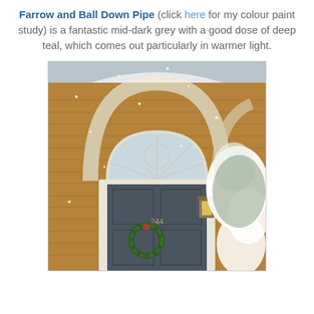Farrow and Ball Down Pipe (click here for my colour paint study) is a fantastic mid-dark grey with a good dose of deep teal, which comes out particularly in warmer light.
[Figure (photo): A dark grey-blue painted front door numbered 244 with an arched fanlight window above, a Christmas wreath, a wall lantern, set in a brick building with snow falling and a snow-covered tree to the right.]